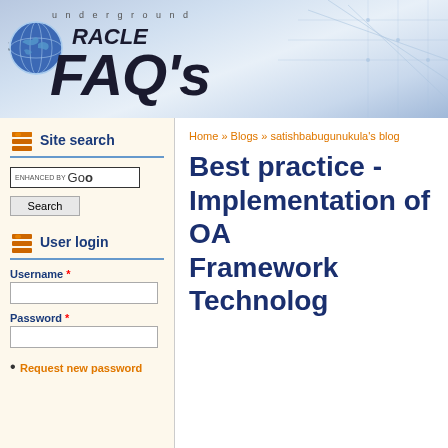[Figure (logo): Underground Oracle FAQ's website banner with globe logo and circuit board design background]
Site search
User login
Username *
Password *
Request new password
Home » Blogs » satishbabugunukula's blog
Best practice - Implementation of OA Framework Technolog